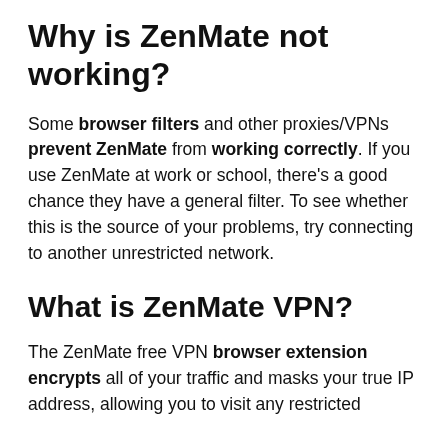Why is ZenMate not working?
Some browser filters and other proxies/VPNs prevent ZenMate from working correctly. If you use ZenMate at work or school, there's a good chance they have a general filter. To see whether this is the source of your problems, try connecting to another unrestricted network.
What is ZenMate VPN?
The ZenMate free VPN browser extension encrypts all of your traffic and masks your true IP address, allowing you to visit any restricted